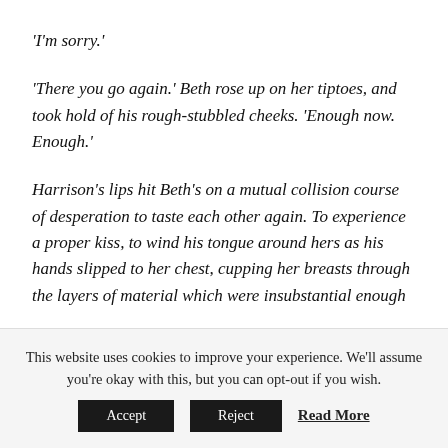‘I’m sorry.’
‘There you go again.’ Beth rose up on her tiptoes, and took hold of his rough-stubbled cheeks. ‘Enough now. Enough.’
Harrison’s lips hit Beth’s on a mutual collision course of desperation to taste each other again. To experience a proper kiss, to wind his tongue around hers as his hands slipped to her chest, cupping her breasts through the layers of material which were insubstantial enough
This website uses cookies to improve your experience. We'll assume you're okay with this, but you can opt-out if you wish. Accept Reject Read More